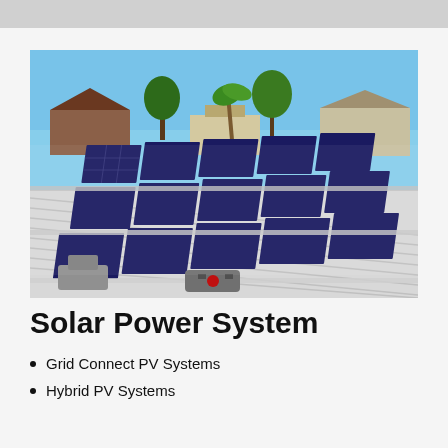[Figure (photo): Solar panels installed on a white metal roof of a building, with residential houses and palm trees visible in the background under a clear blue sky. Multiple rows of dark blue photovoltaic panels are mounted on silver aluminum railing systems.]
Solar Power System
Grid Connect PV Systems
Hybrid PV Systems